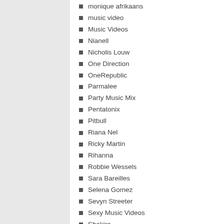monique afrikaans
music video
Music Videos
Nianell
Nicholis Louw
One Direction
OneRepublic
Parmalee
Party Music Mix
Pentatonix
Pitbull
Riana Nel
Ricky Martin
Rihanna
Robbie Wessels
Sara Bareilles
Selena Gomez
Sevyn Streeter
Sexy Music Videos
Shakira
Sheryl Crow
Snotkop
Stadsboer
Steve Hofmeyr
Taylor Swift